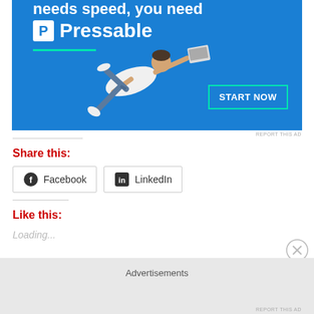[Figure (screenshot): Pressable web hosting advertisement banner with blue background, person flying horizontally holding a laptop, Pressable logo and START NOW button]
REPORT THIS AD
Share this:
Facebook  LinkedIn
Like this:
Loading...
Advertisements
REPORT THIS AD